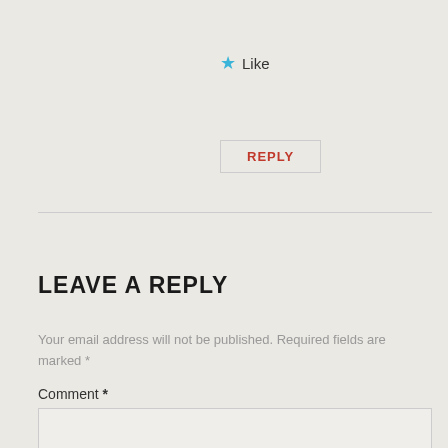★ Like
REPLY
LEAVE A REPLY
Your email address will not be published. Required fields are marked *
Comment *